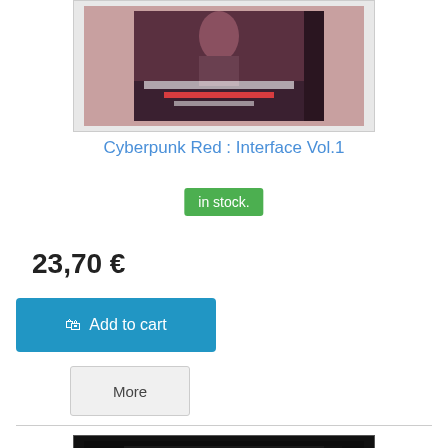[Figure (photo): Product image of Cyberpunk Red Interface Vol.1 book showing its cover with a woman and text 'La collection des accords à Cyberpunk, Volume 1']
Cyberpunk Red : Interface Vol.1
in stock.
23,70 €
Add to cart
More
[Figure (photo): Product image of Shadowrun supplement book with dark cover showing glowing pink brain and 'SHADOWRUN' text]